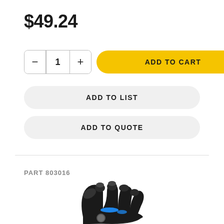$49.24
- 1 + ADD TO CART
ADD TO LIST
ADD TO QUOTE
PART 803016
[Figure (photo): Black work glove with blue accents and logo, shown palm-side with fingers spread slightly]